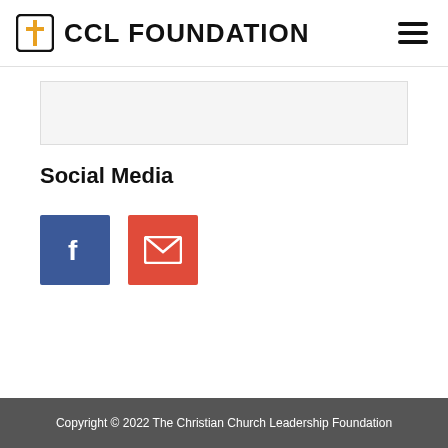CCL FOUNDATION
[Figure (logo): CCL Foundation logo with cross icon and hamburger menu]
Social Media
[Figure (infographic): Facebook icon (blue square) and Email icon (red square) social media buttons]
Copyright © 2022 The Christian Church Leadership Foundation